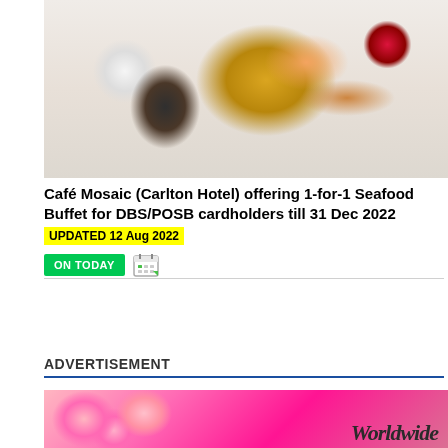[Figure (photo): Overhead photo of a seafood platter with oysters, mussels, prawns/shrimp, crab legs, lemon, and a floral garnish arranged on ice, with a small dipping sauce bowl on the left.]
Café Mosaic (Carlton Hotel) offering 1-for-1 Seafood Buffet for DBS/POSB cardholders till 31 Dec 2022 UPDATED 12 Aug 2022
ON TODAY
ADVERTISEMENT
[Figure (photo): Bottom portion of an advertisement image showing pink flowers on the left and partial text 'Worldwide' or similar in dark letters on the right.]